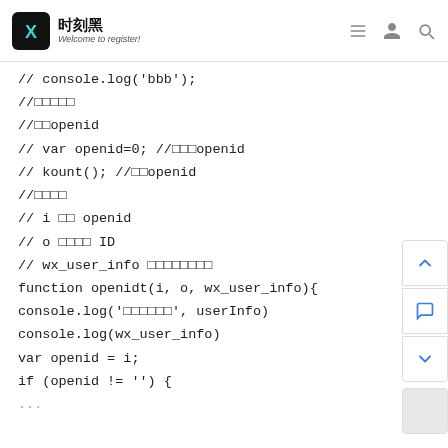时刻黑 — Welcome to register!
// console.log('bbb');
//□□□□□
//□□openid
// var openid=0; //□□□openid
// kount(); //□□openid
//□□□□
// i □□ openid
// o □□□□ ID
// wx_user_info □□□□□□□□
function openidt(i, o, wx_user_info){
console.log('□□□□□□', userInfo)
console.log(wx_user_info)
var openid = i;
if (openid != '') {
...